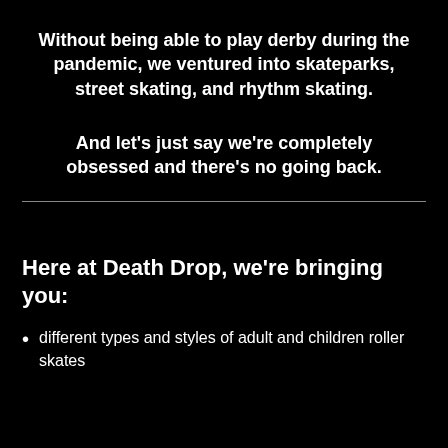Without being able to play derby during the pandemic, we ventured into skateparks, street skating, and rhythm skating.
And let's just say we're completely obsessed and there's no going back.
Here at Death Drop, we're bringing you:
different types and styles of adult and children roller skates